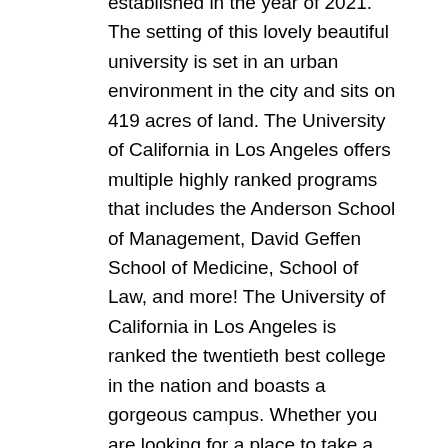established in the year of 2021. The setting of this lovely beautiful university is set in an urban environment in the city and sits on 419 acres of land. The University of California in Los Angeles offers multiple highly ranked programs that includes the Anderson School of Management, David Geffen School of Medicine, School of Law, and more! The University of California in Los Angeles is ranked the twentieth best college in the nation and boasts a gorgeous campus. Whether you are looking for a place to take a stroll through during a beautiful afternoon or are looking for a university to continue your studies, the University of California in Los Angeles is well worth checking out!